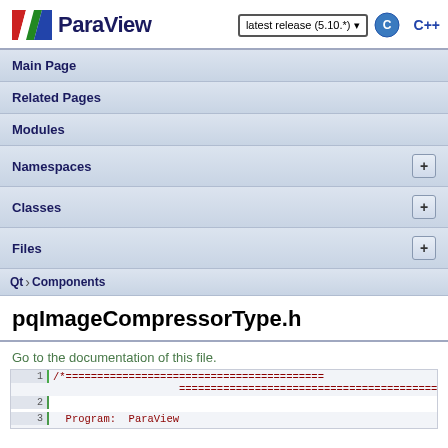ParaView — latest release (5.10.*) — C++
Main Page
Related Pages
Modules
Namespaces +
Classes +
Files +
Qt › Components
pqImageCompressorType.h
Go to the documentation of this file.
1  /*=========================================
=========================================
2
3     Program:  ParaView